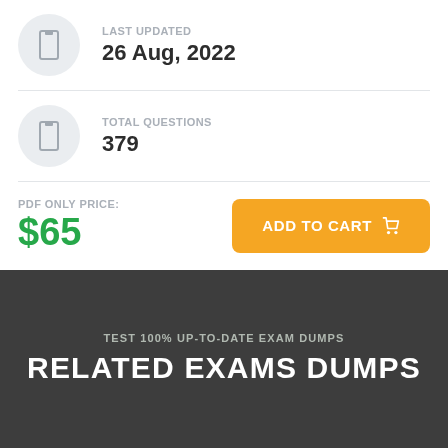LAST UPDATED
26 Aug, 2022
TOTAL QUESTIONS
379
PDF ONLY PRICE:
$65
ADD TO CART
TEST 100% UP-TO-DATE EXAM DUMPS
RELATED EXAMS DUMPS